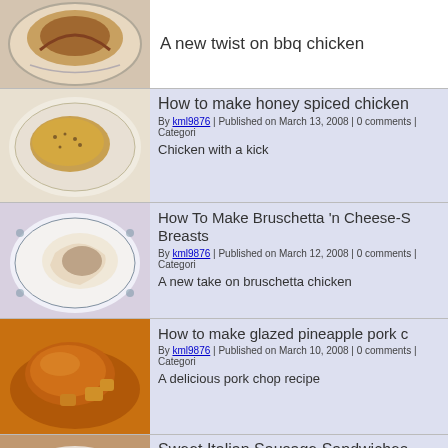[Figure (photo): Partial photo of bbq chicken on a plate]
A new twist on bbq chicken
[Figure (photo): Photo of honey spiced chicken breast on a plate]
How to make honey spiced chicken
By kml9876 | Published on March 13, 2008 | 0 comments | Categori
Chicken with a kick
[Figure (photo): Photo of bruschetta chicken breast on a decorative plate]
How To Make Bruschetta 'n Cheese-S Breasts
By kml9876 | Published on March 12, 2008 | 0 comments | Categori
A new take on bruschetta chicken
[Figure (photo): Photo of glazed pineapple pork chop in sauce]
How to make glazed pineapple pork c
By kml9876 | Published on March 10, 2008 | 0 comments | Categori
A delicious pork chop recipe
[Figure (photo): Photo of sweet Italian sausage sandwich on bun]
Sweet Italian Sausage Sandwiches
By kml9876 | Published on March 04, 2008 | 0 comments | Categori